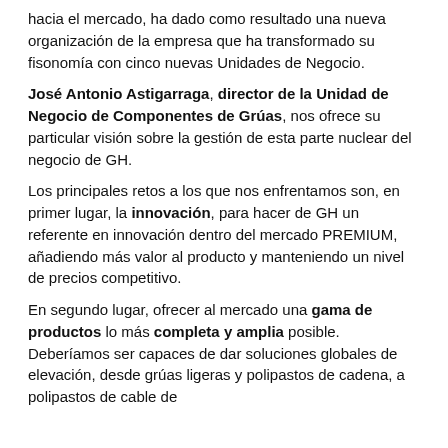hacia el mercado, ha dado como resultado una nueva organización de la empresa que ha transformado su fisonomía con cinco nuevas Unidades de Negocio.
José Antonio Astigarraga, director de la Unidad de Negocio de Componentes de Grúas, nos ofrece su particular visión sobre la gestión de esta parte nuclear del negocio de GH.
Los principales retos a los que nos enfrentamos son, en primer lugar, la innovación, para hacer de GH un referente en innovación dentro del mercado PREMIUM, añadiendo más valor al producto y manteniendo un nivel de precios competitivo.
En segundo lugar, ofrecer al mercado una gama de productos lo más completa y amplia posible. Deberíamos ser capaces de dar soluciones globales de elevación, desde grúas ligeras y polipastos de cadena, a polipastos de cable de